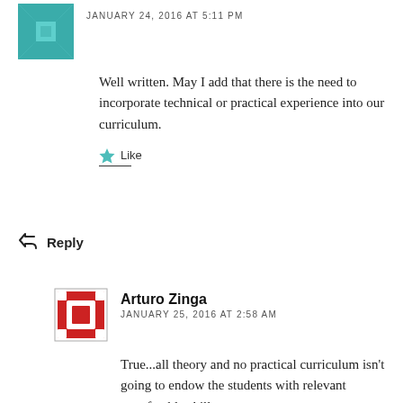[Figure (illustration): Teal/green geometric quilt-pattern avatar icon]
JANUARY 24, 2016 AT 5:11 PM
Well written. May I add that there is the need to incorporate technical or practical experience into our curriculum.
Like
Reply
[Figure (illustration): Red square frame / mosaic avatar icon with border]
Arturo Zinga
JANUARY 25, 2016 AT 2:58 AM
True...all theory and no practical curriculum isn't going to endow the students with relevant transferable skills.
Like